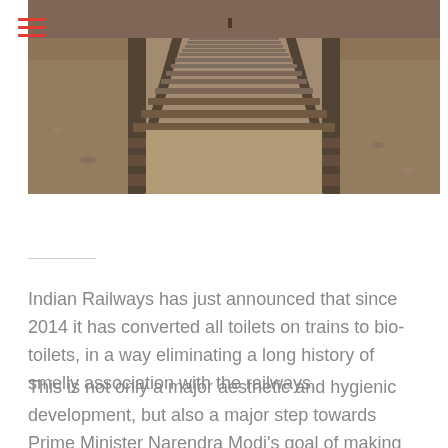[Figure (photo): Photograph of railway tracks with wooden sleepers and ballast gravel, taken from a perspective looking down the tracks.]
Indian Railways has just announced that since 2014 it has converted all toilets on trains to bio-toilets, in a way eliminating a long history of smelly association with the railways.
This is not only a major aesthetic and hygienic development, but also a major step towards Prime Minister Narendra Modi's goal of making India free of manual cleaning. One of the biggest problems before the